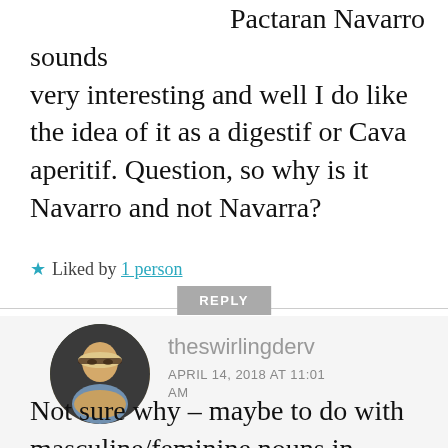Pactaran Navarro sounds very interesting and well I do like the idea of it as a digestif or Cava aperitif. Question, so why is it Navarro and not Navarra?
★ Liked by 1 person
REPLY
[Figure (photo): Circular avatar photo of a blonde woman with glasses and a scarf]
theswirlingderv
APRIL 14, 2018 AT 11:01 AM
Not sure why – maybe to do with masculine/feminine nouns in